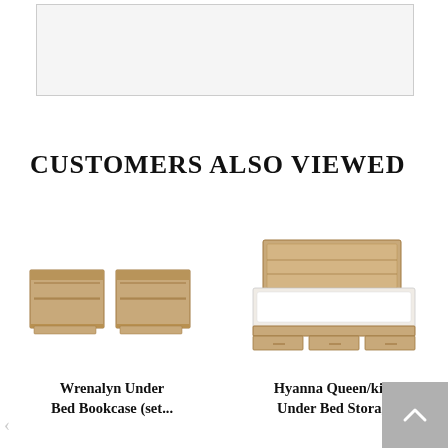[Figure (photo): Partial product image at top of page, shown in a bordered rectangle]
CUSTOMERS ALSO VIEWED
[Figure (photo): Two light wood Wrenalyn Under Bed Bookcase units side by side]
Wrenalyn Under Bed Bookcase (set...
[Figure (photo): Hyanna Queen/king bed with light wood storage drawers underneath]
Hyanna Queen/king Under Bed Storage